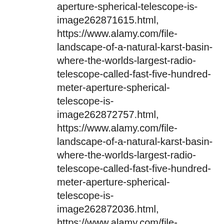aperture-spherical-telescope-is-image262871615.html, https://www.alamy.com/file-landscape-of-a-natural-karst-basin-where-the-worlds-largest-radio-telescope-called-fast-five-hundred-meter-aperture-spherical-telescope-is-image262872757.html, https://www.alamy.com/file-landscape-of-a-natural-karst-basin-where-the-worlds-largest-radio-telescope-called-fast-five-hundred-meter-aperture-spherical-telescope-is-image262872036.html, https://www.alamy.com/file-landscape-of-a-natural-karst-basin-where-the-worlds-largest-radio-telescope-called-fast-five-hundred-meter-aperture-spherical-telescope-is-image262872656.html, https://www.alamy.com/file-landscape-of-a-natural-karst-basin-where-the-worlds-largest-radio-telescope-called-fast-five-hundred-meter-aperture-spherical-telescope-is-image262872677.html, --FILE--View of the construction site of the world's largest radio telescope called FAST (Five-hundred-meter Aperture Spherical Telescope) in Pingtang,